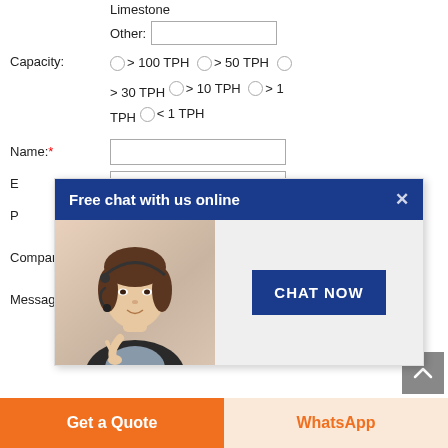Limestone
Other:
Capacity:
> 100 TPH > 50 TPH > 30 TPH > 10 TPH > 1 TPH < 1 TPH
Name:*
[Figure (screenshot): Free chat with us online popup overlay with blue header, agent photo, and CHAT NOW button]
E
P
Company:
Message:
Other requirements: output size like 0-10,10-
Get a Quote
WhatsApp